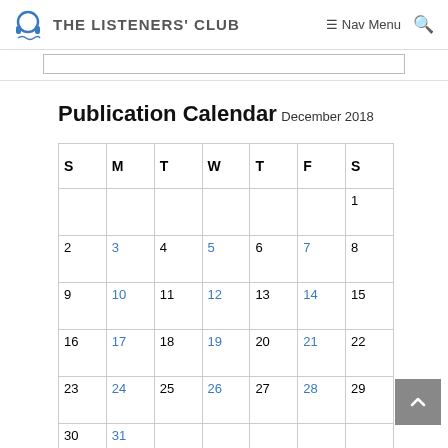THE LISTENERS' CLUB | Nav Menu
Publication Calendar
December 2018
| S | M | T | W | T | F | S |
| --- | --- | --- | --- | --- | --- | --- |
|  |  |  |  |  |  | 1 |
| 2 | 3 | 4 | 5 | 6 | 7 | 8 |
| 9 | 10 | 11 | 12 | 13 | 14 | 15 |
| 16 | 17 | 18 | 19 | 20 | 21 | 22 |
| 23 | 24 | 25 | 26 | 27 | 28 | 29 |
| 30 | 31 |  |  |  |  |  |